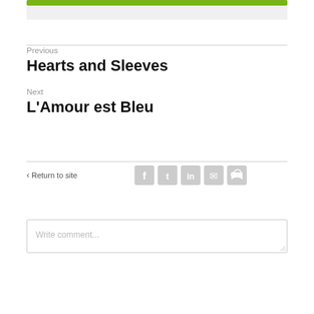Previous
Hearts and Sleeves
Next
L'Amour est Bleu
< Return to site
[Figure (other): Social media icon buttons: Facebook, Twitter, LinkedIn, Email, RSS]
Write comment...